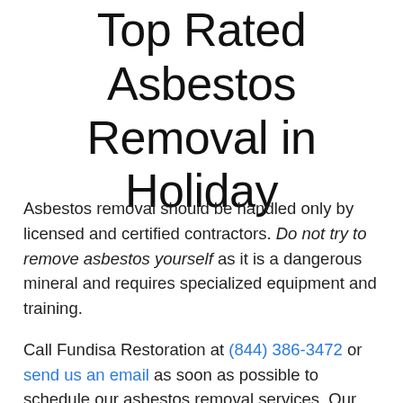Top Rated Asbestos Removal in Holiday
Asbestos removal should be handled only by licensed and certified contractors. Do not try to remove asbestos yourself as it is a dangerous mineral and requires specialized equipment and training.
Call Fundisa Restoration at (844) 386-3472 or send us an email as soon as possible to schedule our asbestos removal services. Our personnel is expertly trained in accordance with